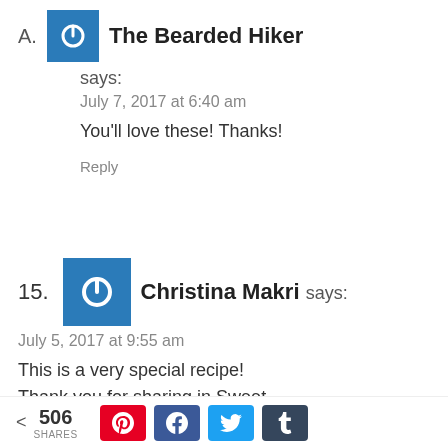A. The Bearded Hiker says:
July 7, 2017 at 6:40 am
You’ll love these! Thanks!
Reply
15. Christina Makri says:
July 5, 2017 at 9:55 am
This is a very special recipe! Thank you for sharing in Sweet
< 506 SHARES [Pinterest] [Facebook] [Twitter] [Tumblr]